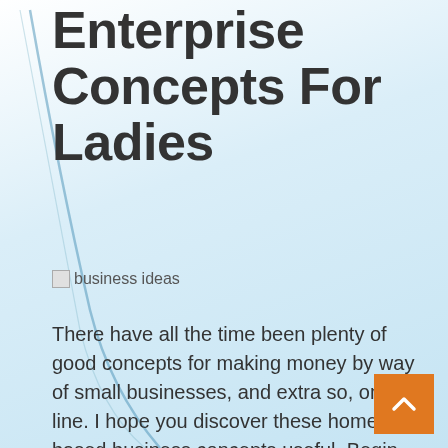Profitable Small Enterprise Concepts For Ladies
[Figure (illustration): Broken image placeholder labeled 'business ideas']
There have all the time been plenty of good concepts for making money by way of small businesses, and extra so, on-line. I hope you discover these home based business concepts useful. Begin out with fliers or brochures put in local companies and in addition give your friends and acquaintances some enterprise cards you by no means know when a new catering job will